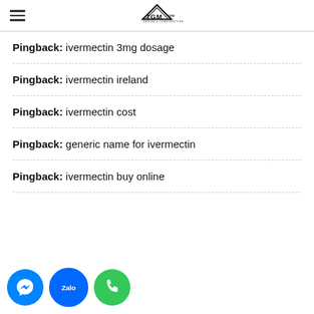TGM Design & Construction logo with hamburger menu
Pingback: ivermectin 3mg dosage
Pingback: ivermectin ireland
Pingback: ivermectin cost
Pingback: generic name for ivermectin
Pingback: ivermectin buy online